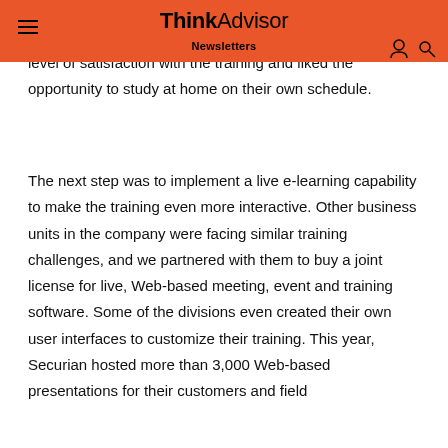ThinkAdvisor Newsletters
level of satisfaction with the training and liked the opportunity to study at home on their own schedule.
The next step was to implement a live e-learning capability to make the training even more interactive. Other business units in the company were facing similar training challenges, and we partnered with them to buy a joint license for live, Web-based meeting, event and training software. Some of the divisions even created their own user interfaces to customize their training. This year, Securian hosted more than 3,000 Web-based presentations for their customers and field